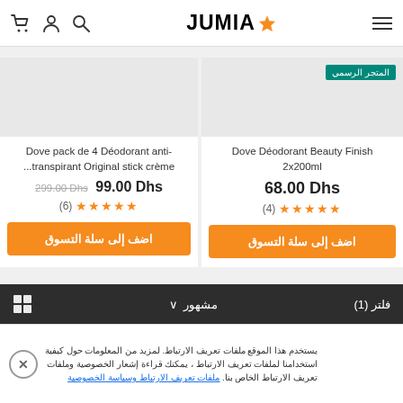JUMIA
[Figure (screenshot): Jumia e-commerce product listing page showing two Dove deodorant products]
Dove pack de 4 Déodorant anti-...transpirant Original stick crème
299.00 Dhs 99.00 Dhs
(6) ★★★★★
اضف إلى سلة التسوق
المتجر الرسمي
Dove Déodorant Beauty Finish 2x200ml
68.00 Dhs
(4) ★★★★★
اضف إلى سلة التسوق
مشهور ∨   فلتر (1)
يستخدم هذا الموقع ملفات تعريف الارتباط. لمزيد من المعلومات حول كيفية استخدامنا لملفات تعريف الارتباط ، يمكنك قراءة إشعار الخصوصية وملفات تعريف الارتباط الخاص بنا. ملفات تعريف الارتباط وسياسة الخصوصية